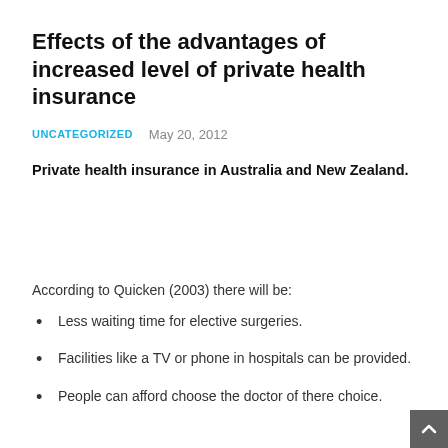Effects of the advantages of increased level of private health insurance
UNCATEGORIZED   May 20, 2012
Private health insurance in Australia and New Zealand.
According to Quicken (2003) there will be:
Less waiting time for elective surgeries.
Facilities like a TV or phone in hospitals can be provided.
People can afford choose the doctor of there choice.